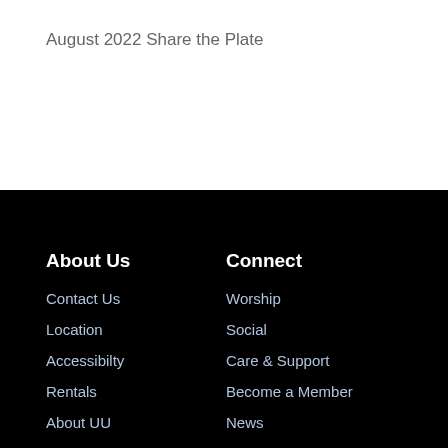August 2022 Share the Plate
About Us
Contact Us
Location
Accessibilty
Rentals
About UU
Staff
Connect
Worship
Social
Care & Support
Become a Member
News
Events